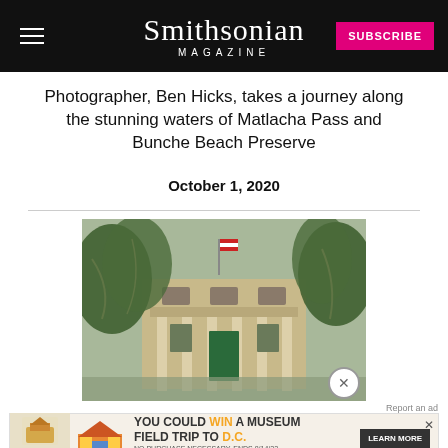Smithsonian MAGAZINE SUBSCRIBE
Photographer, Ben Hicks, takes a journey along the stunning waters of Matlacha Pass and Bunche Beach Preserve
October 1, 2020
[Figure (photo): A historic building with columns, framed by large trees with Spanish moss. An American flag is visible above the entrance.]
[Figure (infographic): Quaker advertisement banner: YOU COULD WIN A MUSEUM FIELD TRIP TO D.C. LEARN MORE]
Girl Scouts Join Archaeological